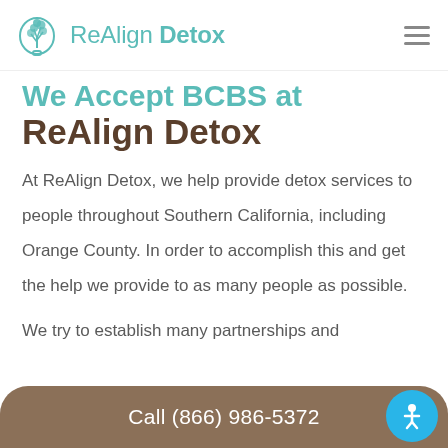ReAlign Detox
We Accept BCBS at ReAlign Detox
At ReAlign Detox, we help provide detox services to people throughout Southern California, including Orange County. In order to accomplish this and get the help we provide to as many people as possible.
We try to establish many partnerships and
Call (866) 986-5372